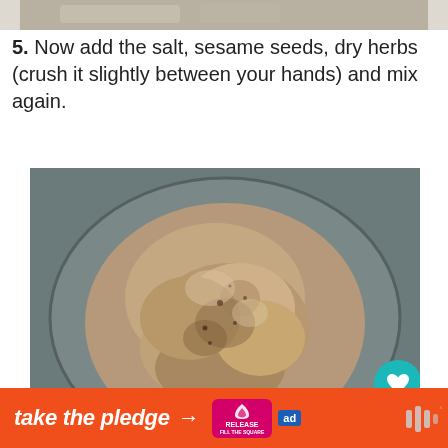[Figure (photo): Top portion of a food/dough photo cropped at the top of the page]
5. Now add the salt, sesame seeds, dry herbs (crush it slightly between your hands) and mix again.
[Figure (photo): Overhead view of bread dough mixed with herbs and seeds in a dark bowl or on a work surface]
[Figure (photo): Bottom portion showing more of the dough on a floured surface]
[Figure (infographic): Ad banner: take the pledge with Release logo and ad badge, plus mute icon on right]